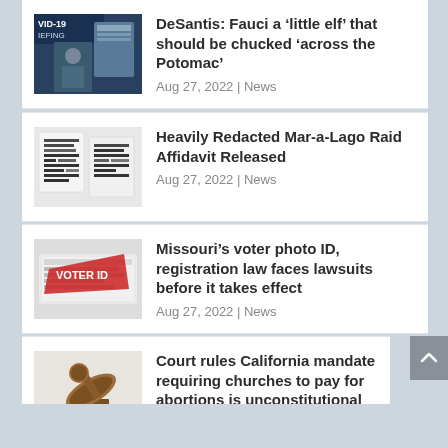DeSantis: Fauci a ‘little elf’ that should be chucked ‘across the Potomac’ | Aug 27, 2022 | News
Heavily Redacted Mar-a-Lago Raid Affidavit Released | Aug 27, 2022 | News
Missouri’s voter photo ID, registration law faces lawsuits before it takes effect | Aug 27, 2022 | News
Court rules California mandate requiring churches to pay for abortions is unconstitutional | Aug 27, 2022 | News